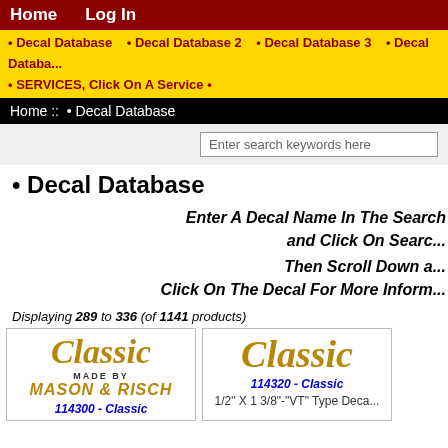Home   Log In
• Decal Database   • Decal Database 2   • Decal Database 3   • Decal Database   • SERVICES, Click On A Service •
Home :: • Decal Database
Enter search keywords here
• Decal Database
Enter A Decal Name In The Search and Click On Search
Then Scroll Down and Click On The Decal For More Information
Displaying 289 to 336 (of 1141 products)
[Figure (illustration): Classic decal logo - Made By Mason & Risch, product 114300 - Classic]
[Figure (illustration): Classic decal logo, product 114320 - Classic, 1/2 X 1 3/8 VT Type Decal]